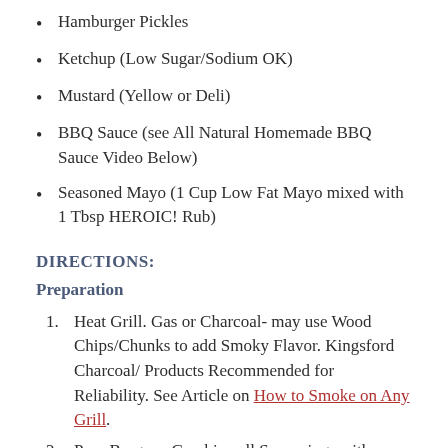Hamburger Pickles
Ketchup (Low Sugar/Sodium OK)
Mustard (Yellow or Deli)
BBQ Sauce (see All Natural Homemade BBQ Sauce Video Below)
Seasoned Mayo (1 Cup Low Fat Mayo mixed with 1 Tbsp HEROIC! Rub)
DIRECTIONS:
Preparation
Heat Grill. Gas or Charcoal- may use Wood Chips/Chunks to add Smoky Flavor. Kingsford Charcoal/ Products Recommended for Reliability. See Article on How to Smoke on Any Grill.
Prep Burgers. Combine all Seasonings with Ground Beef and separate into 4 Patties. May use